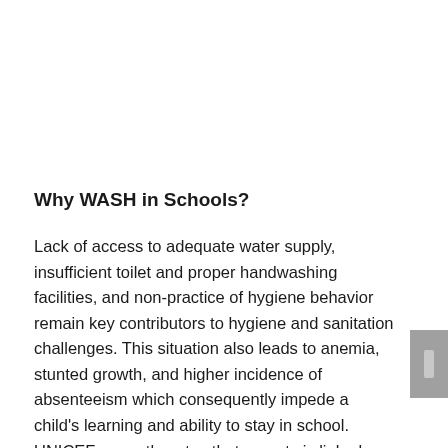Why WASH in Schools?
Lack of access to adequate water supply,  insufficient toilet and proper handwashing facilities, and non-practice of hygiene behavior remain key contributors to hygiene and sanitation challenges. This situation also leads to anemia, stunted growth, and higher incidence of absenteeism which consequently impede a child's learning and ability to stay in school. UNICEF correctly notes that poverty is linked directly to poor sanitation and hygiene, and has emphasized the vital role of government in breaking the